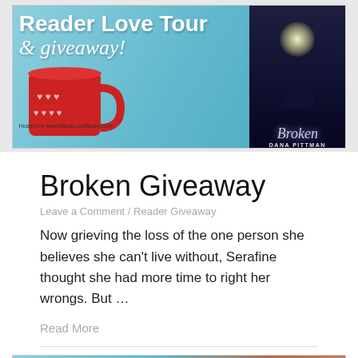[Figure (illustration): Reader Love Tour & giveaway! banner with red mug, hearts, and Broken book cover by Dana Pittman. Hosted by www.BlackLoveBooks.com]
Broken Giveaway
Leave a Comment / Reader Giveaway
Now grieving the loss of the one person she believes she can't live without, Serafine thought she had more time to right her wrongs. But …
Read More
[Figure (illustration): Reader Love Tour banner (partial view at bottom of page)]